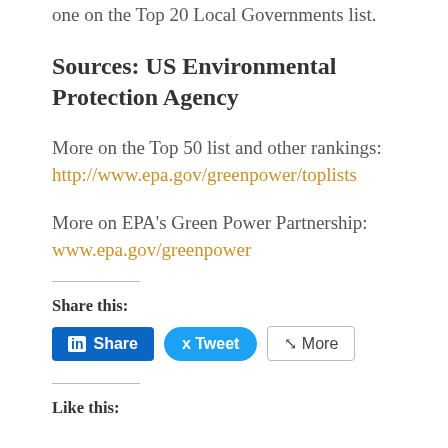one on the Top 20 Local Governments list.
Sources: US Environmental Protection Agency
More on the Top 50 list and other rankings:
http://www.epa.gov/greenpower/toplists
More on EPA's Green Power Partnership:
www.epa.gov/greenpower
Share this:
[Figure (other): Social sharing buttons: LinkedIn Share, Tweet, More]
Like this: